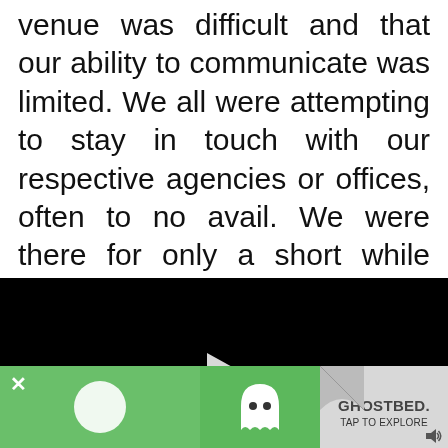venue was difficult and that our ability to communicate was limited. We all were attempting to stay in touch with our respective agencies or offices, often to no avail. We were there for only a short while when the Deputy Attorney General decided that we needed to return to
[Figure (screenshot): Black video player area with a white play button triangle in the center]
[Figure (screenshot): Advertisement bar: green background on left with white circle blob, Waze ghost icon in center, GhostBed logo and TAP TO EXPLORE text on gray right section. X close button top left.]